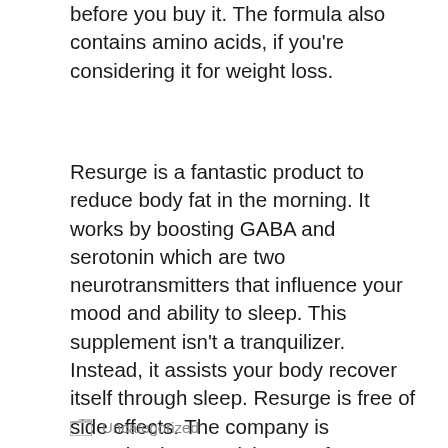before you buy it. The formula also contains amino acids, if you're considering it for weight loss.
Resurge is a fantastic product to reduce body fat in the morning. It works by boosting GABA and serotonin which are two neurotransmitters that influence your mood and ability to sleep. This supplement isn't a tranquilizer. Instead, it assists your body recover itself through sleep. Resurge is free of side effects. The company is committed to supplying a safe product. The only issue is that it is available only by prescription only.
Uncategorized